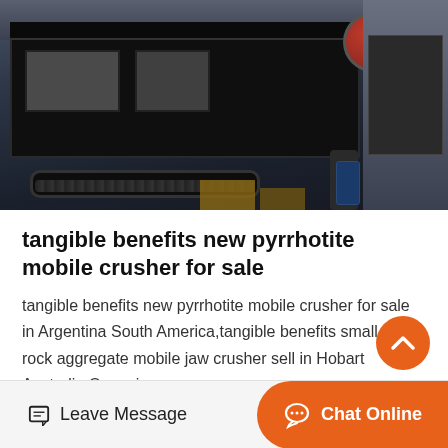[Figure (photo): Industrial mobile crusher machine photographed in a warehouse or factory, large black heavy machinery with drums and tracks visible, various equipment and materials in the background]
tangible benefits new pyrrhotite mobile crusher for sale
tangible benefits new pyrrhotite mobile crusher for sale in Argentina South America,tangible benefits small soft rock aggregate mobile jaw crusher sell in Hobart Australia Oceaniarec…